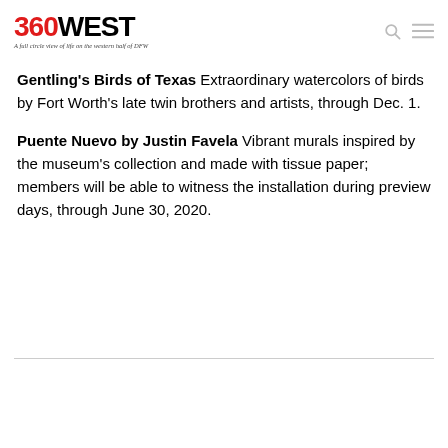360WEST – A full circle view of life on the western half of DFW
Gentling's Birds of Texas Extraordinary watercolors of birds by Fort Worth's late twin brothers and artists, through Dec. 1.
Puente Nuevo by Justin Favela Vibrant murals inspired by the museum's collection and made with tissue paper; members will be able to witness the installation during preview days, through June 30, 2020.